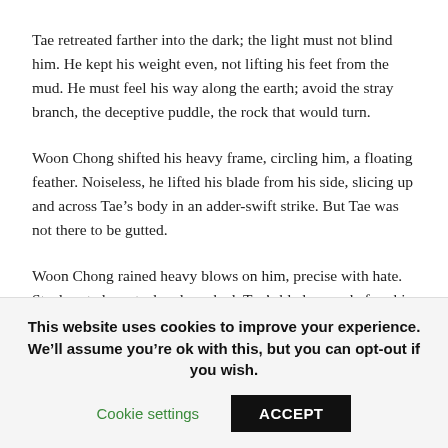Tae retreated farther into the dark; the light must not blind him. He kept his weight even, not lifting his feet from the mud. He must feel his way along the earth; avoid the stray branch, the deceptive puddle, the rock that would turn.
Woon Chong shifted his heavy frame, circling him, a floating feather. Noiseless, he lifted his blade from his side, slicing up and across Tae’s body in an adder-swift strike. But Tae was not there to be gutted.
Woon Chong rained heavy blows on him, precise with hate. Steel grated on steel and sparked. Tae’s blade gave before his hwarang master’s, deflect, attack, and deflect—until the moment Woon extended his arm. Tae struck his wrist. Woon
This website uses cookies to improve your experience. We’ll assume you’re ok with this, but you can opt-out if you wish.
Cookie settings
ACCEPT